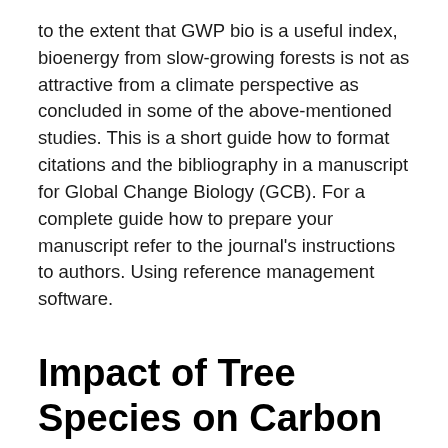to the extent that GWP bio is a useful index, bioenergy from slow-growing forests is not as attractive from a climate perspective as concluded in some of the above-mentioned studies. This is a short guide how to format citations and the bibliography in a manuscript for Global Change Biology (GCB). For a complete guide how to prepare your manuscript refer to the journal's instructions to authors. Using reference management software.
Impact of Tree Species on Carbon in Forest Soils - Open